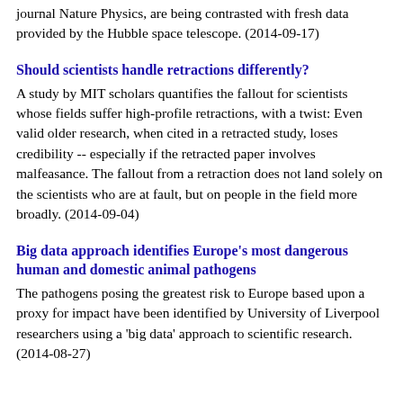journal Nature Physics, are being contrasted with fresh data provided by the Hubble space telescope. (2014-09-17)
Should scientists handle retractions differently?
A study by MIT scholars quantifies the fallout for scientists whose fields suffer high-profile retractions, with a twist: Even valid older research, when cited in a retracted study, loses credibility -- especially if the retracted paper involves malfeasance. The fallout from a retraction does not land solely on the scientists who are at fault, but on people in the field more broadly. (2014-09-04)
Big data approach identifies Europe's most dangerous human and domestic animal pathogens
The pathogens posing the greatest risk to Europe based upon a proxy for impact have been identified by University of Liverpool researchers using a 'big data' approach to scientific research. (2014-08-27)